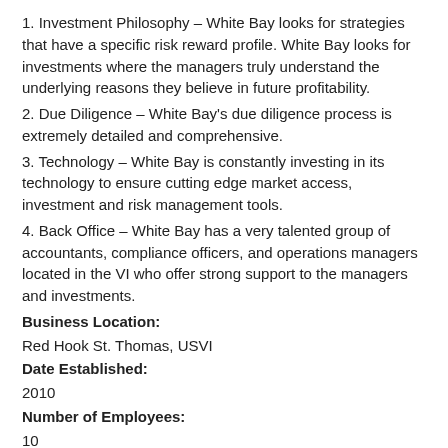1. Investment Philosophy – White Bay looks for strategies that have a specific risk reward profile. White Bay looks for investments where the managers truly understand the underlying reasons they believe in future profitability.
2. Due Diligence – White Bay's due diligence process is extremely detailed and comprehensive.
3. Technology – White Bay is constantly investing in its technology to ensure cutting edge market access, investment and risk management tools.
4. Back Office – White Bay has a very talented group of accountants, compliance officers, and operations managers located in the VI who offer strong support to the managers and investments.
Business Location:
Red Hook St. Thomas, USVI
Date Established:
2010
Number of Employees:
10
USVI Solution/Benefit:
Access to a nationwide pool of talented, stateside schooled and trained Virgin Islanders who have a genuine desire to serve and support their island.